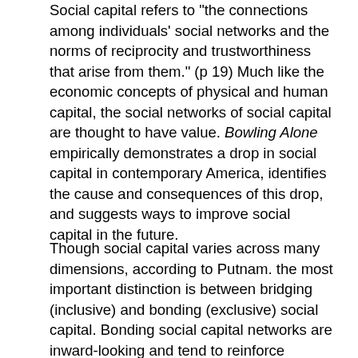Social capital refers to "the connections among individuals' social networks and the norms of reciprocity and trustworthiness that arise from them." (p 19) Much like the economic concepts of physical and human capital, the social networks of social capital are thought to have value. Bowling Alone empirically demonstrates a drop in social capital in contemporary America, identifies the cause and consequences of this drop, and suggests ways to improve social capital in the future.
Though social capital varies across many dimensions, according to Putnam. the most important distinction is between bridging (inclusive) and bonding (exclusive) social capital. Bonding social capital networks are inward-looking and tend to reinforce exclusive identities and homogenous groups. Examples of such networks include ethnic fraternal organizations and country clubs. On the other hand, bridging social capital networks are outward looking and include people across "diverse